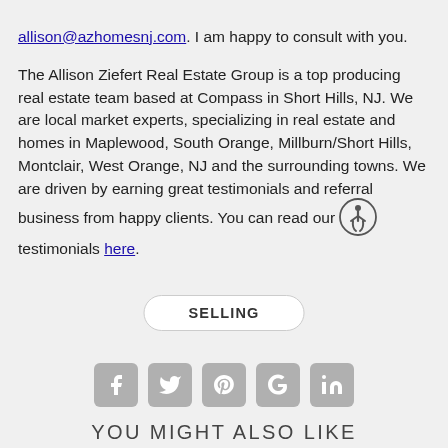allison@azhomesnj.com. I am happy to consult with you.
The Allison Ziefert Real Estate Group is a top producing real estate team based at Compass in Short Hills, NJ. We are local market experts, specializing in real estate and homes in Maplewood, South Orange, Millburn/Short Hills, Montclair, West Orange, NJ and the surrounding towns. We are driven by earning great testimonials and referral business from happy clients. You can read our testimonials here.
SELLING
[Figure (infographic): Row of 5 social media icons: Facebook, Twitter, Pinterest, Google+, LinkedIn — grey rounded squares]
YOU MIGHT ALSO LIKE